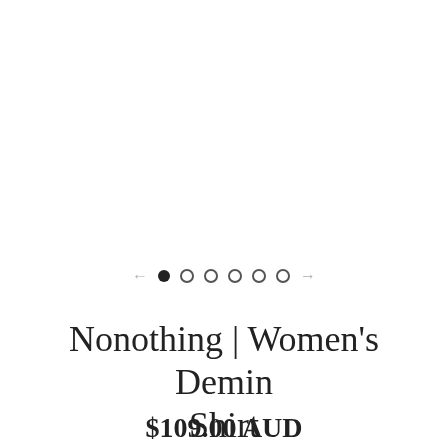[Figure (other): Image carousel navigation dots and arrows: left arrow (gray), one filled black circle dot, five empty circle dots, right arrow (gray)]
Nonothing | Women's Demin Shirt
$109.00 AUD